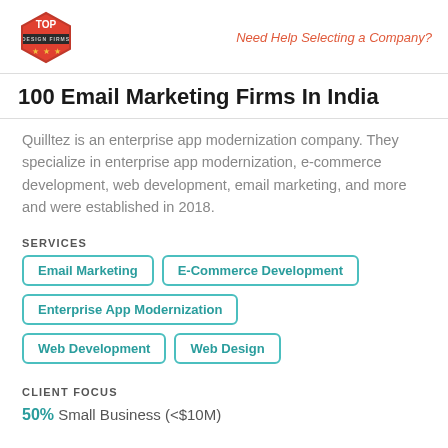Top Design Firms | Need Help Selecting a Company?
100 Email Marketing Firms In India
Quilltez is an enterprise app modernization company. They specialize in enterprise app modernization, e-commerce development, web development, email marketing, and more and were established in 2018.
SERVICES
Email Marketing
E-Commerce Development
Enterprise App Modernization
Web Development
Web Design
CLIENT FOCUS
50% Small Business (<$10M)